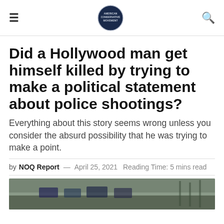≡  [American Conservative Movement logo]  🔍
Did a Hollywood man get himself killed by trying to make a political statement about police shootings?
Everything about this story seems wrong unless you consider the absurd possibility that he was trying to make a point.
by NOQ Report — April 25, 2021  Reading Time: 5 mins read
[Figure (photo): Aerial or street-level photo of a scene with police vehicles and infrastructure, partially visible at the bottom of the page.]